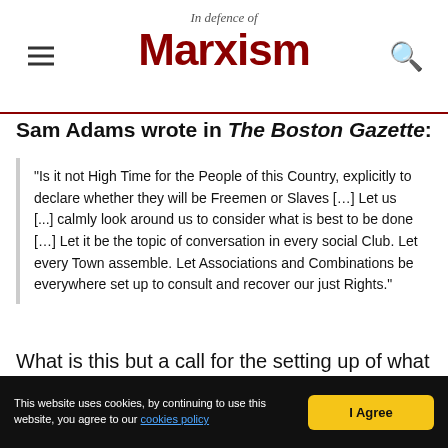In Defence of Marxism
Sam Adams wrote in The Boston Gazette:
"Is it not High Time for the People of this Country, explicitly to declare whether they will be Freemen or Slaves […] Let us [...] calmly look around us to consider what is best to be done […] Let it be the topic of conversation in every social Club. Let every Town assemble. Let Associations and Combinations be everywhere set up to consult and recover our just Rights."
What is this but a call for the setting up of what the Russians were later to call soviets (which in the Russian language signifies "committee" or
This website uses cookies, by continuing to use this website, you agree to our cookies policy